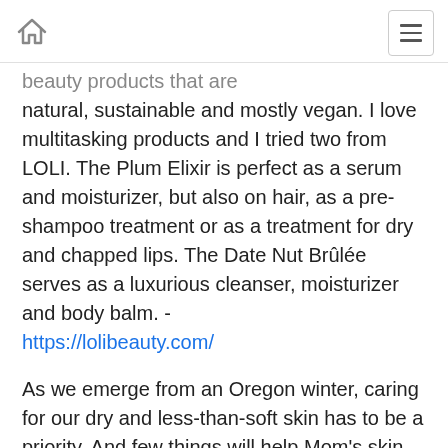[home icon] [menu icon]
beauty products that are natural, sustainable and mostly vegan. I love multitasking products and I tried two from LOLI. The Plum Elixir is perfect as a serum and moisturizer, but also on hair, as a pre-shampoo treatment or as a treatment for dry and chapped lips. The Date Nut Brûlée serves as a luxurious cleanser, moisturizer and body balm. - https://lolibeauty.com/
As we emerge from an Oregon winter, caring for our dry and less-than-soft skin has to be a priority. And few things will help Mom's skin feel spring-ready than a body polish and body cream. The Lotus Moon products - Pure Refine Body Polish and Pure Silk Body Cream - feel so good and gently smooth out those rough spots and soften the